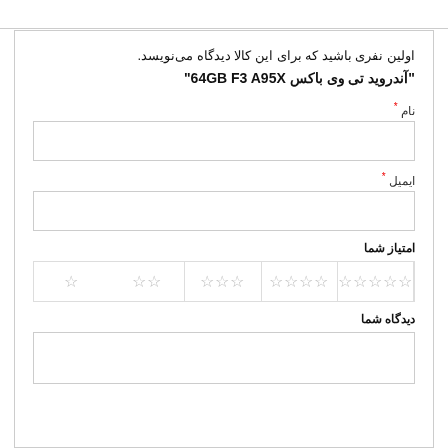اولین نفری باشید که برای این کالا دیدگاه می‌نویسد. "آندروید تی وی باکس 64GB F3 A95X"
نام *
ایمیل *
امتیاز شما
[Figure (other): Star rating selector with 5 groups of stars (5 stars, 4 stars, 3 stars, 2 stars, 1 star) separated by vertical dividers]
دیدگاه شما